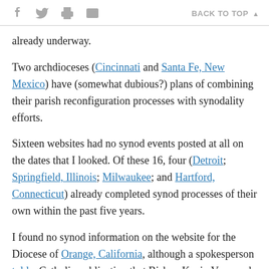f [twitter] [print] [email]   BACK TO TOP ▲
already underway.
Two archdioceses (Cincinnati and Santa Fe, New Mexico) have (somewhat dubious?) plans of combining their parish reconfiguration processes with synodality efforts.
Sixteen websites had no synod events posted at all on the dates that I looked. Of these 16, four (Detroit; Springfield, Illinois; Milwaukee; and Hartford, Connecticut) already completed synod processes of their own within the past five years.
I found no synod information on the website for the Diocese of Orange, California, although a spokesperson told a Catholic publication that Bishop Kevin Vann and his advisers were studying the documents and "praying for the Holy Spirit's